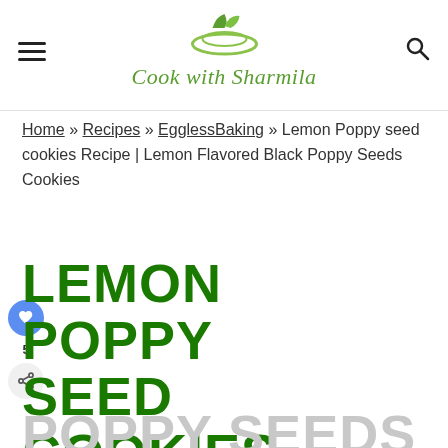Cook with Sharmila
Home » Recipes » EgglessBaking » Lemon Poppy seed cookies Recipe | Lemon Flavored Black Poppy Seeds Cookies
LEMON POPPY SEED COOKIES RECIPE | LEMON FLAVORED BLACK POPPY SEEDS